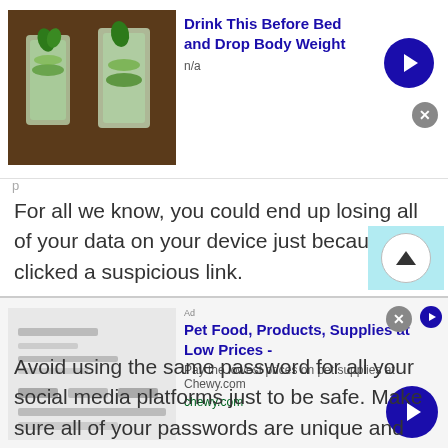[Figure (screenshot): Top advertisement banner: image of cucumber water drinks on left, bold blue title 'Drink This Before Bed and Drop Body Weight', subtitle 'n/a', blue circular arrow button on right, gray close X button]
For all we know, you could end up losing all of your data on your device just because you clicked a suspicious link.
Using Strong Passwords
Avoid using the same password for all your social media platforms just to be safe. Make sure all of your passwords are unique and complex, especially for the two most important accounts which include your social network and your email account.
[Figure (screenshot): Bottom advertisement banner: Chewy.com ad showing 'Pet Food, Products, Supplies at Low Prices -', subtitle 'Pay the lowest prices on pet supplies at Chewy.com', URL 'chewy.com', product image on left, blue circular arrow button on right]